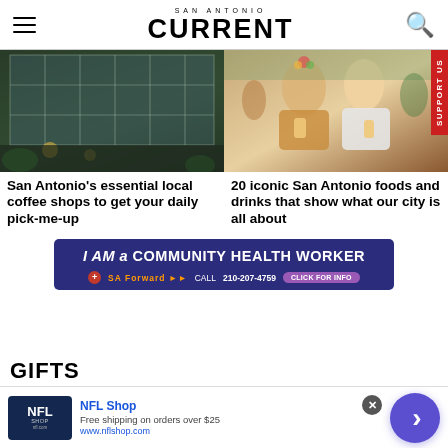SAN ANTONIO CURRENT
[Figure (photo): Exterior of a glass-facade coffee shop building at night with warm lights]
[Figure (photo): Two smiling women at an outdoor San Antonio festival holding food, in festive attire]
San Antonio's essential local coffee shops to get your daily pick-me-up
20 iconic San Antonio foods and drinks that show what our city is all about
[Figure (infographic): Advertisement banner: I AM a COMMUNITY HEALTH WORKER - SA Forward - CALL 210-207-4759 - CLICK FOR INFO]
[Figure (infographic): NFL Shop advertisement - Free shipping on orders over $25 - www.nflshop.com]
GIFTS